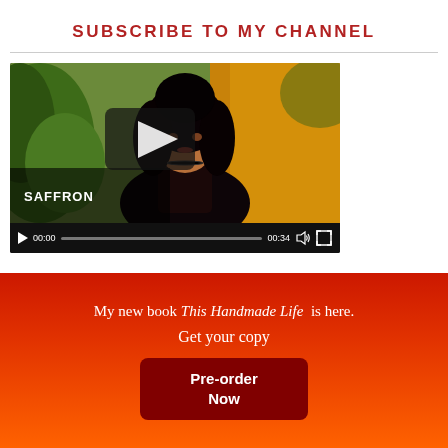SUBSCRIBE TO MY CHANNEL
[Figure (screenshot): Video player showing a woman with dark curly hair against a green plants and yellow wall background. Video controls show 00:00 / 00:34. SAFFRON text in lower left. Play button overlay in center.]
My new book This Handmade Life is here. Get your copy
Pre-order Now